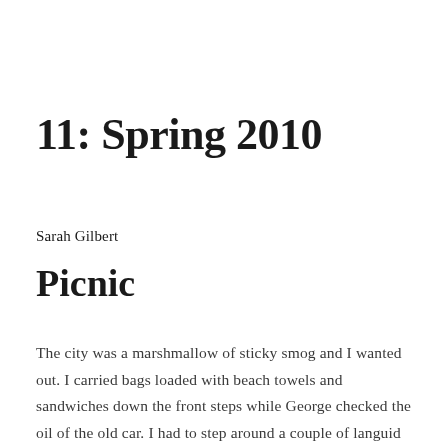11: Spring 2010
Sarah Gilbert
Picnic
The city was a marshmallow of sticky smog and I wanted out. I carried bags loaded with beach towels and sandwiches down the front steps while George checked the oil of the old car. I had to step around a couple of languid coffee drinkers who'd spilled out of the café on the corner and made themselves